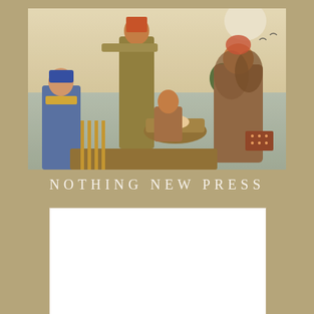[Figure (illustration): Classical painting depicting ancient Egyptian figures, including women and a child in a basket, in an ornate setting with golden hues.]
NOTHING NEW PRESS
[Figure (logo): Nothing New Press logo on white background with decorative N initial letter in red ornamental box, floral border elements, URL nothingnewpress.com, italic 'Nothing New' above bold 'PRESS' text.]